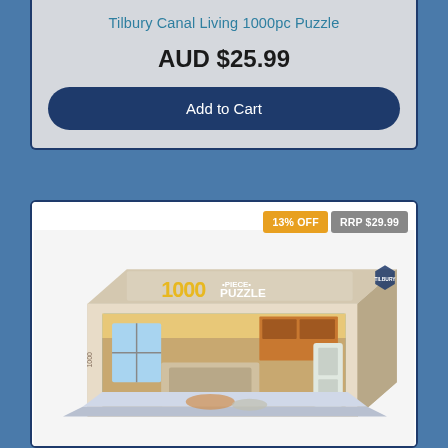Tilbury Canal Living 1000pc Puzzle
AUD $25.99
Add to Cart
13% OFF
RRP $29.99
[Figure (photo): Product photo of a 1000-piece puzzle box showing a cozy kitchen scene, with '1000 PIECE PUZZLE' printed on the front, Tilbury Canal Living theme.]